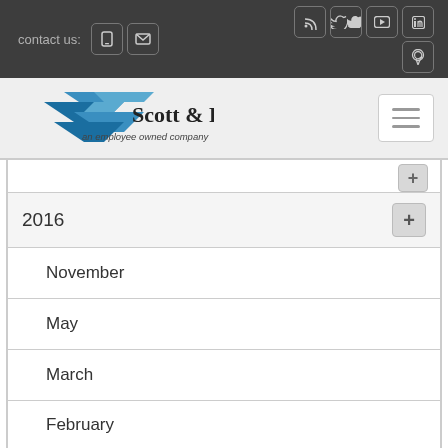contact us:
[Figure (logo): Scott & Fyfe logo — blue SF chevron with text 'Scott & Fyfe — an employee owned company']
2016
November
May
March
February
Meet the Owners: Jim Watt   - 23rd February 2016
Meet the Owners: George Nicoll   - 16th February 2016